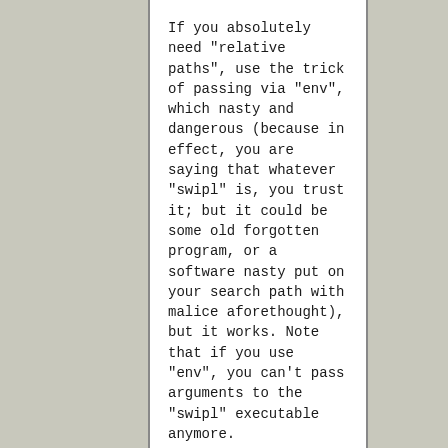If you absolutely need "relative paths", use the trick of passing via "env", which nasty and dangerous (because in effect, you are saying that whatever "swipl" is, you trust it; but it could be some old forgotten program, or a software nasty put on your search path with malice aforethought), but it works. Note that if you use "env", you can't pass arguments to the "swipl" executable anymore.
An excellent review answer is here: